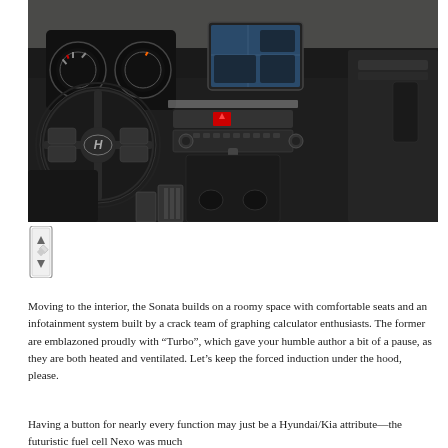[Figure (photo): Interior photograph of a Hyundai Sonata showing the dashboard, steering wheel with Hyundai logo, center touchscreen infotainment display, climate controls, gear shift, and black interior trim.]
[Figure (other): Small UI icon resembling a scroll bar or navigation widget with a diamond/arrow shape.]
Moving to the interior, the Sonata builds on a roomy space with comfortable seats and an infotainment system built by a crack team of graphing calculator enthusiasts. The former are emblazoned proudly with “Turbo”, which gave your humble author a bit of a pause, as they are both heated and ventilated. Let’s keep the forced induction under the hood, please.
Having a button for nearly every function may just be a Hyundai/Kia attribute—the futuristic fuel cell Nexo was much